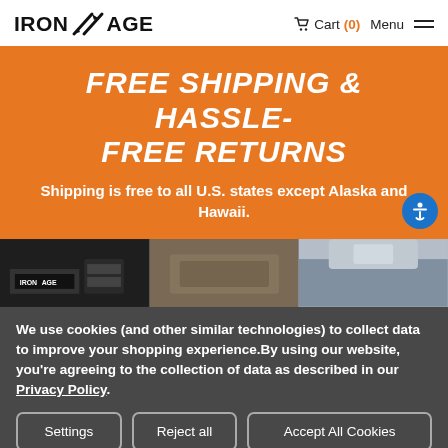IRON AGE | Cart (0) Menu
FREE SHIPPING & HASSLE-FREE RETURNS
Shipping is free to all U.S. states except Alaska and Hawaii.
[Figure (photo): Three product/store photos side by side: Iron Age branded display, outdoor product, and clothing/gear close-up]
We use cookies (and other similar technologies) to collect data to improve your shopping experience.By using our website, you're agreeing to the collection of data as described in our Privacy Policy.
Settings | Reject all | Accept All Cookies